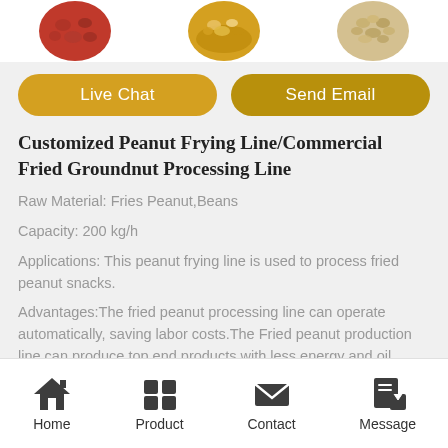[Figure (photo): Three circular images of food products (beans/peanuts) at the top of the page]
Live Chat
Send Email
Customized Peanut Frying Line/Commercial Fried Groundnut Processing Line
Raw Material: Fries Peanut,Beans
Capacity: 200 kg/h
Applications: This peanut frying line is used to process fried peanut snacks.
Advantages:The fried peanut processing line can operate automatically, saving labor costs.The Fried peanut production line can produce top end products with less energy and oil.
Home  Product  Contact  Message